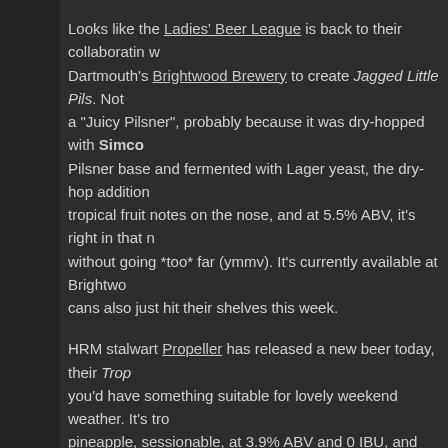Looks like the Ladies' Beer League is back to their collaboratin with Dartmouth's Brightwood Brewery to create Jagged Little Pils. Not a "Juicy Pilsner", probably because it was dry-hopped with Simco Pilsner base and fermented with Lager yeast, the dry-hop addition tropical fruit notes on the nose, and at 5.5% ABV, it's right in that n without going *too* far (ymmv). It's currently available at Brightwo cans also just hit their shelves this week.
HRM stalwart Propeller has released a new beer today, their Trop you'd have something suitable for lovely weekend weather. It's tro pineapple, sessionable, at 3.9% ABV and 0 IBU, and sour. If that d we don't know what does! A limited release, you'll only be able to on Gottingen in Halifax and on Windmill in Dartmouth, as well as a Liquid Assets at the Stanfield Airport if you're on your way out of to one out at the source, you'll also find a limited number of bottles o this summer available at the Prop Shops!! If you missed this the fi more chance to give it a go; if you didn't miss it, we suspect you m sale today from opening until it's all gone.
Halifax's Good Robot has been around for 4 years now and they'v crazy and staid. But they've never ever made a Hefeweizen. Until uncommon style in our region, hefeweizen is more than just fun to